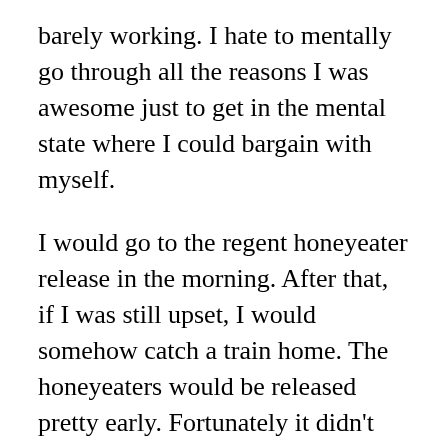barely working. I hate to mentally go through all the reasons I was awesome just to get in the mental state where I could bargain with myself.
I would go to the regent honeyeater release in the morning. After that, if I was still upset, I would somehow catch a train home. The honeyeaters would be released pretty early. Fortunately it didn't come to that but it was a hell of a night.
My anxiety is at a point where it's hard to describe. I can function now. I can handle